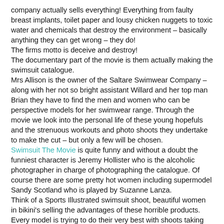company actually sells everything! Everything from faulty breast implants, toilet paper and lousy chicken nuggets to toxic water and chemicals that destroy the environment – basically anything they can get wrong – they do!
The firms motto is deceive and destroy!
The documentary part of the movie is them actually making the swimsuit catalogue.
Mrs Allison is the owner of the Saltare Swimwear Company – along with her not so bright assistant Willard and her top man Brian they have to find the men and women who can be perspective models for her swimwear range. Through the movie we look into the personal life of these young hopefuls and the strenuous workouts and photo shoots they undertake to make the cut – but only a few will be chosen.
Swimsuit The Movie is quite funny and without a doubt the funniest character is Jeremy Hollister who is the alcoholic photographer in charge of photographing the catalogue. Of course there are some pretty hot women including supermodel Sandy Scotland who is played by Suzanne Lanza.
Think of a Sports Illustrated swimsuit shoot, beautiful women in bikini's selling the advantages of these horrible products. Every model is trying to do their very best with shoots taking place on an oily beach, inside a